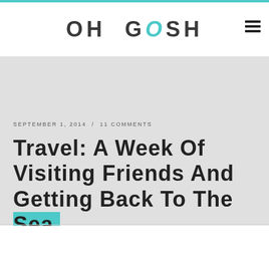OH GOSH
SEPTEMBER 1, 2014 / 11 COMMENTS
Travel: A Week Of Visiting Friends And Getting Back To The Sea.
[Figure (infographic): Social media share icons: Twitter, Facebook, Pinterest, LinkedIn]
Oooops, sorry for the 10ish day absence, but work was so crazy before my holiday that writing and scheduling blog posts to go live whilst I was away was impossible. I thought though that I might share a few glimpses of our little family holiday which turned into a bit of a tour of the south of England. Forgive me the image heavy post